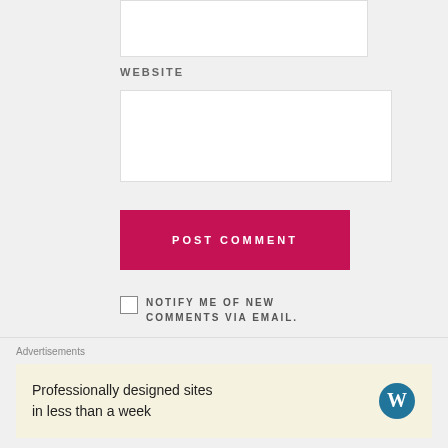WEBSITE
[Figure (screenshot): White input box for website URL field]
[Figure (screenshot): POST COMMENT button in crimson/dark pink color with white uppercase text]
NOTIFY ME OF NEW COMMENTS VIA EMAIL.
NOTIFY ME OF NEW POSTS
Advertisements
Professionally designed sites in less than a week